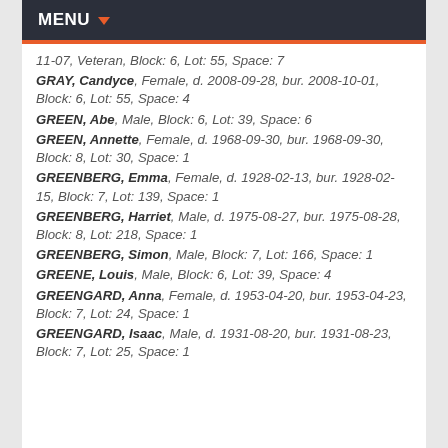MENU
11-07, Veteran, Block: 6, Lot: 55, Space: 7
GRAY, Candyce, Female, d. 2008-09-28, bur. 2008-10-01, Block: 6, Lot: 55, Space: 4
GREEN, Abe, Male, Block: 6, Lot: 39, Space: 6
GREEN, Annette, Female, d. 1968-09-30, bur. 1968-09-30, Block: 8, Lot: 30, Space: 1
GREENBERG, Emma, Female, d. 1928-02-13, bur. 1928-02-15, Block: 7, Lot: 139, Space: 1
GREENBERG, Harriet, Male, d. 1975-08-27, bur. 1975-08-28, Block: 8, Lot: 218, Space: 1
GREENBERG, Simon, Male, Block: 7, Lot: 166, Space: 1
GREENE, Louis, Male, Block: 6, Lot: 39, Space: 4
GREENGARD, Anna, Female, d. 1953-04-20, bur. 1953-04-23, Block: 7, Lot: 24, Space: 1
GREENGARD, Isaac, Male, d. 1931-08-20, bur. 1931-08-23, Block: 7, Lot: 25, Space: 1